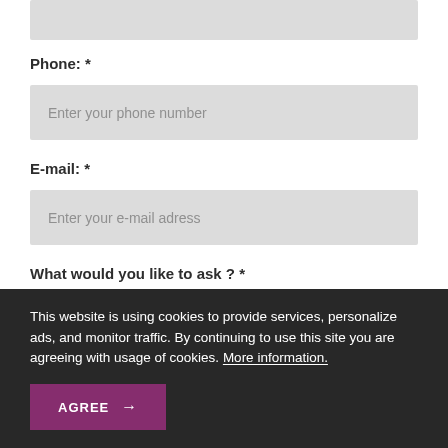Phone: *
Enter your phone number
E-mail: *
Enter your e-mail adress
What would you like to ask ? *
This website is using cookies to provide services, personalize ads, and monitor traffic. By continuing to use this site you are agreeing with usage of cookies. More information.
AGREE →